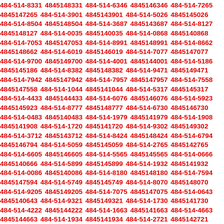484-514-8331 4845148331 484-514-6346 4845146346 484-514-7265 4845147265 484-514-3901 4845143901 484-514-5026 4845145026 484-514-8504 4845148504 484-514-3687 4845143687 484-514-8127 4845148127 484-514-0035 4845140035 484-514-0868 4845140868 484-514-7053 4845147053 484-514-8991 4845148991 484-514-8662 4845148662 484-514-6019 4845146019 484-514-7077 4845147077 484-514-9700 4845149700 484-514-4001 4845144001 484-514-5186 4845145186 484-514-8382 4845148382 484-514-9471 4845149471 484-514-7942 4845147942 484-514-7957 4845147957 484-514-7558 4845147558 484-514-1044 4845141044 484-514-5317 4845145317 484-514-4433 4845144433 484-514-6076 4845146076 484-514-5923 4845145923 484-514-8777 4845148777 484-514-6730 4845146730 484-514-0483 4845140483 484-514-1979 4845141979 484-514-1908 4845141908 484-514-1720 4845141720 484-514-9302 4845149302 484-514-3712 4845143712 484-514-8424 4845148424 484-514-6794 4845146794 484-514-5059 4845145059 484-514-2765 4845142765 484-514-6605 4845146605 484-514-5565 4845145565 484-514-0666 4845140666 484-514-5899 4845145899 484-514-1932 4845141932 484-514-0086 4845140086 484-514-8180 4845148180 484-514-7594 4845147594 484-514-5749 4845145749 484-514-8070 4845148070 484-514-9205 4845149205 484-514-7075 4845147075 484-514-0643 4845140643 484-514-9321 4845149321 484-514-1730 4845141730 484-514-4222 4845144222 484-514-1663 4845141663 484-514-4663 4845144663 484-514-1934 4845141934 484-514-2721 4845142721 484-514-4111 4845144111 484-514-0137 4845140137 484-514-3225